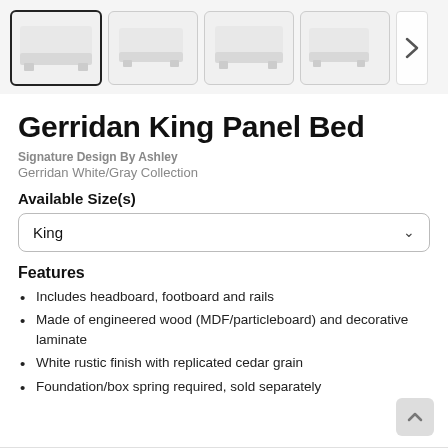[Figure (photo): Four thumbnail images of the Gerridan King Panel Bed from different angles, with the first image selected/active and a next arrow button on the right.]
Gerridan King Panel Bed
Signature Design By Ashley
Gerridan White/Gray Collection
Available Size(s)
King
Features
Includes headboard, footboard and rails
Made of engineered wood (MDF/particleboard) and decorative laminate
White rustic finish with replicated cedar grain
Foundation/box spring required, sold separately